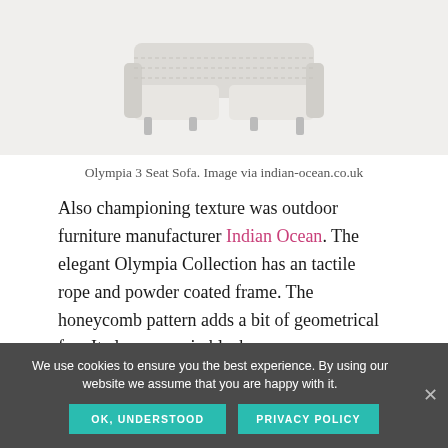[Figure (photo): Partial image of the Olympia 3 Seat Sofa, showing white/light-colored outdoor sofa with rope detail and powder coated frame against a white background.]
Olympia 3 Seat Sofa. Image via indian-ocean.co.uk
Also championing texture was outdoor furniture manufacturer Indian Ocean. The elegant Olympia Collection has an tactile rope and powder coated frame. The honeycomb pattern adds a bit of geometrical fun. It also comes in black.
We use cookies to ensure you the best experience. By using our website we assume that you are happy with it.